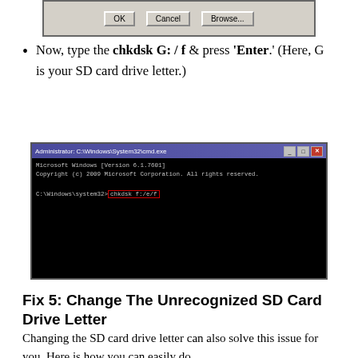[Figure (screenshot): Dialog box with OK, Cancel, and Browse... buttons shown at top of page]
Now, type the chkdsk G: / f & press 'Enter.' (Here, G is your SD card drive letter.)
[Figure (screenshot): Administrator Command Prompt window showing: Microsoft Windows [Version 6.1.7601], Copyright (c) 2009 Microsoft Corporation. All rights reserved. C:\Windows\system32>chkdsk f:/e/f highlighted in red box]
Fix 5: Change The Unrecognized SD Card Drive Letter
Changing the SD card drive letter can also solve this issue for you. Here is how you can easily do